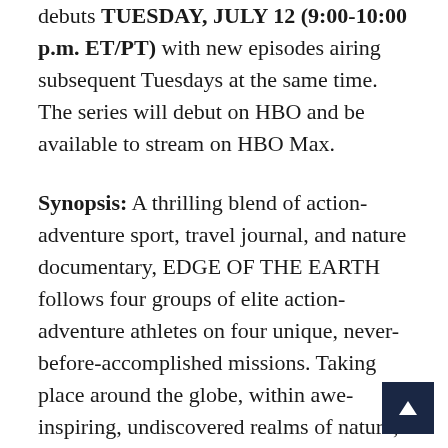debuts TUESDAY, JULY 12 (9:00-10:00 p.m. ET/PT) with new episodes airing subsequent Tuesdays at the same time. The series will debut on HBO and be available to stream on HBO Max.
Synopsis: A thrilling blend of action-adventure sport, travel journal, and nature documentary, EDGE OF THE EARTH follows four groups of elite action-adventure athletes on four unique, never-before-accomplished missions. Taking place around the globe, within awe-inspiring, undiscovered realms of nature, each installment features a different team of adventurers journeying into the wild to take incredible endeavors of physical prowess and